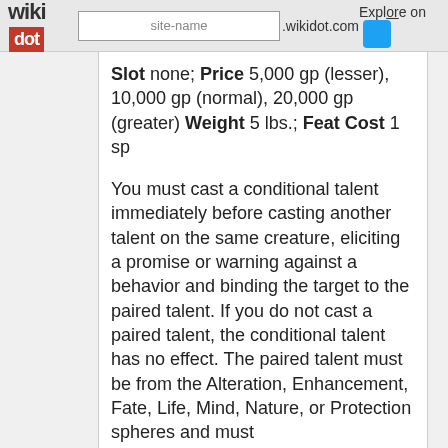wikidot | site-name .wikidot.com | Explore | Share on
Slot none; Price 5,000 gp (lesser), 10,000 gp (normal), 20,000 gp (greater) Weight 5 lbs.; Feat Cost 1 sp
You must cast a conditional talent immediately before casting another talent on the same creature, eliciting a promise or warning against a behavior and binding the target to the paired talent. If you do not cast a paired talent, the conditional talent has no effect. The paired talent must be from the Alteration, Enhancement, Fate, Life, Mind, Nature, or Protection spheres and must